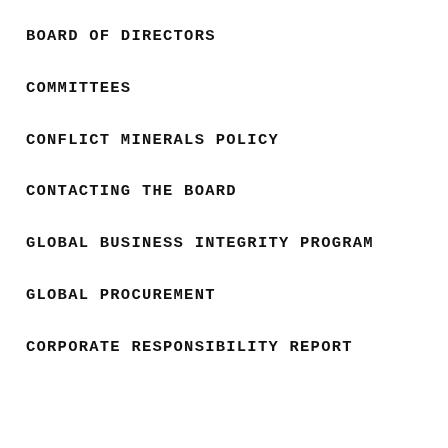BOARD OF DIRECTORS
COMMITTEES
CONFLICT MINERALS POLICY
CONTACTING THE BOARD
GLOBAL BUSINESS INTEGRITY PROGRAM
GLOBAL PROCUREMENT
CORPORATE RESPONSIBILITY REPORT